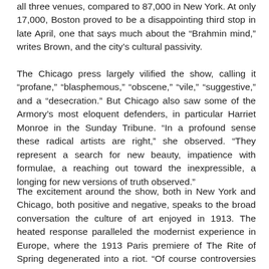all three venues, compared to 87,000 in New York. At only 17,000, Boston proved to be a disappointing third stop in late April, one that says much about the “Brahmin mind,” writes Brown, and the city’s cultural passivity.
The Chicago press largely vilified the show, calling it “profane,” “blasphemous,” “obscene,” “vile,” “suggestive,” and a “desecration.” But Chicago also saw some of the Armory’s most eloquent defenders, in particular Harriet Monroe in the Sunday Tribune. “In a profound sense these radical artists are right,” she observed. “They represent a search for new beauty, impatience with formulae, a reaching out toward the inexpressible, a longing for new versions of truth observed.”
The excitement around the show, both in New York and Chicago, both positive and negative, speaks to the broad conversation the culture of art enjoyed in 1913. The heated response paralleled the modernist experience in Europe, where the 1913 Paris premiere of The Rite of Spring degenerated into a riot. “Of course controversies will arise,” predicted Davies, “just as they have arisen under similar